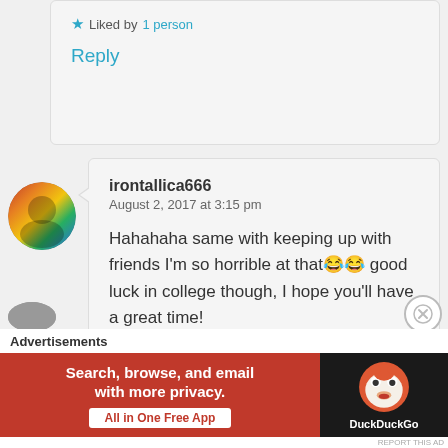Liked by 1 person
Reply
[Figure (photo): Circular avatar photo showing a person with rainbow-colored background]
irontallica666
August 2, 2017 at 3:15 pm
Hahahaha same with keeping up with friends I'm so horrible at that 😂😂 good luck in college though, I hope you'll have a great time!
Liked by 1 person
Reply
Advertisements
Search, browse, and email with more privacy. All in One Free App DuckDuckGo